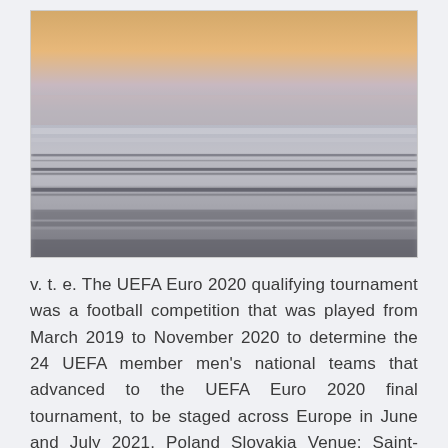[Figure (photo): Abstract long-exposure or motion-blurred seascape/ocean photograph at sunset. The upper portion shows a warm orange and peach sky near the horizon fading to pale grey-blue. The water surface shows horizontal motion blur streaks in muted grey, silver, and light tones, with darker wave lines visible. The overall effect is calm and abstract.]
v. t. e. The UEFA Euro 2020 qualifying tournament was a football competition that was played from March 2019 to November 2020 to determine the 24 UEFA member men's national teams that advanced to the UEFA Euro 2020 final tournament, to be staged across Europe in June and July 2021. Poland Slovakia Venue: Saint-Petersburg Stadium, St. Petersburg, Russia